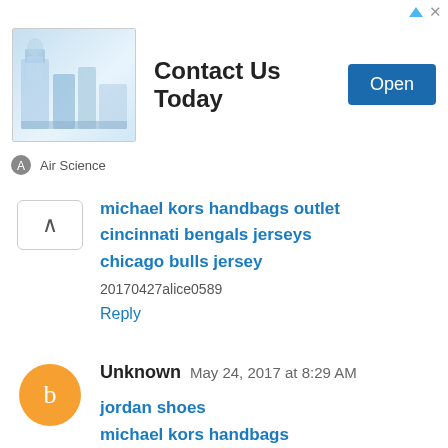[Figure (other): Advertisement banner: Air Science 'Contact Us Today' with Open button and lab equipment image]
michael kors handbags outlet
cincinnati bengals jerseys
chicago bulls jersey
20170427alice0589
Reply
Unknown  May 24, 2017 at 8:29 AM
jordan shoes
michael kors handbags
longchamp handbags
coach factory outlet
coach outlet online
true religion outlet
ugg boots
kobe 9
air max 90